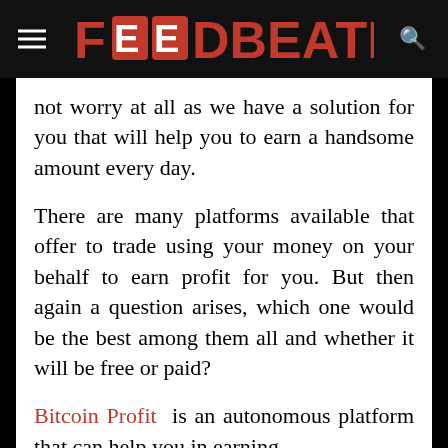FOODBEATER
not worry at all as we have a solution for you that will help you to earn a handsome amount every day.
There are many platforms available that offer to trade using your money on your behalf to earn profit for you. But then again a question arises, which one would be the best among them all and whether it will be free or paid?
Bitcoin Profit is an autonomous platform that can help you in earning